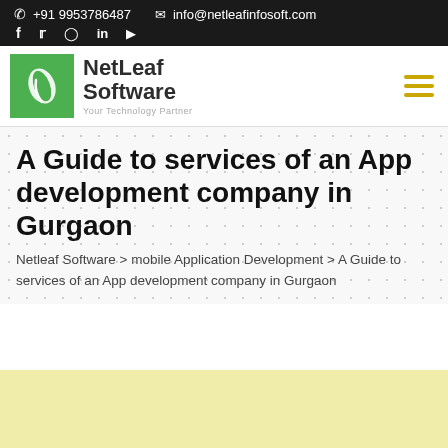+91 9953786487   info@netleafinfosoft.com
[Figure (logo): NetLeaf Software logo — green square with white leaf icon, bold text 'NetLeaf Software', tagline 'Your Technology Partner']
A Guide to services of an App development company in Gurgaon
Netleaf Software > mobile Application Development > A Guide to services of an App development company in Gurgaon